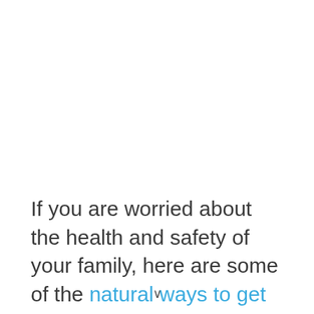If you are worried about the health and safety of your family, here are some of the natural ways to get rid of